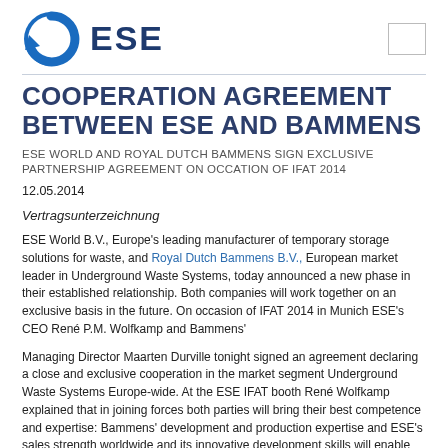[Figure (logo): ESE company logo: blue circular arrow icon with 'ESE' text in dark blue to the right]
COOPERATION AGREEMENT BETWEEN ESE AND BAMMENS
ESE WORLD AND ROYAL DUTCH BAMMENS SIGN EXCLUSIVE PARTNERSHIP AGREEMENT ON OCCATION OF IFAT 2014
12.05.2014
Vertragsunterzeichnung
ESE World B.V., Europe's leading manufacturer of temporary storage solutions for waste, and Royal Dutch Bammens B.V., European market leader in Underground Waste Systems, today announced a new phase in their established relationship. Both companies will work together on an exclusive basis in the future. On occasion of IFAT 2014 in Munich ESE's CEO René P.M. Wolfkamp and Bammens'
Managing Director Maarten Durville tonight signed an agreement declaring a close and exclusive cooperation in the market segment Underground Waste Systems Europe-wide. At the ESE IFAT booth René Wolfkamp explained that in joining forces both parties will bring their best competence and expertise: Bammens' development and production expertise and ESE's sales strength worldwide and its innovative development skills will enable both companies to